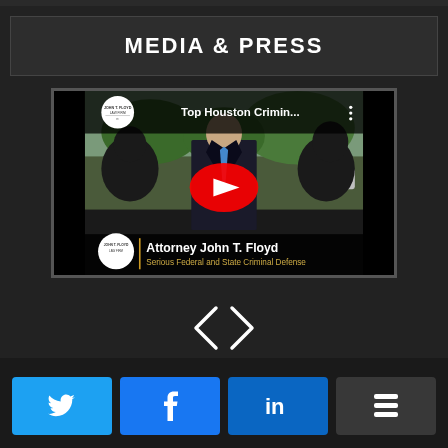MEDIA & PRESS
[Figure (screenshot): YouTube video thumbnail showing Attorney John T. Floyd being interviewed outdoors. Title bar reads 'Top Houston Crimin...' with John T. Floyd Law Firm logo. Lower third shows 'Attorney John T. Floyd' and 'Serious Federal and State Criminal Defense'. Red YouTube play button overlay in center.]
[Figure (other): Navigation arrows: left chevron and right chevron in white for carousel navigation]
[Figure (other): Social share buttons row: Twitter (blue), Facebook (blue), LinkedIn (dark blue), Buffer (dark gray)]